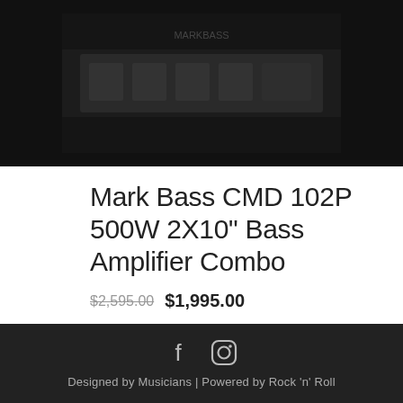[Figure (photo): Dark product photo of a bass amplifier combo unit, showing the front panel with knobs and controls against a black background]
Mark Bass CMD 102P 500W 2X10" Bass Amplifier Combo
$2,595.00 $1,995.00
or 4 interest-free payments of $498.75 with afterpay
Designed by Musicians | Powered by Rock 'n' Roll